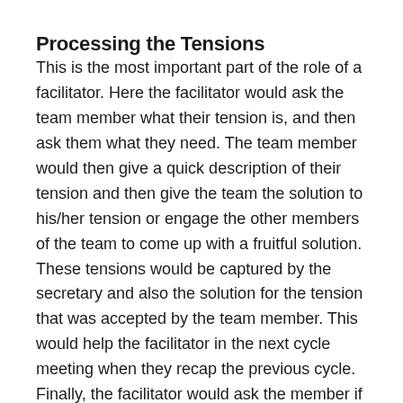Processing the Tensions
This is the most important part of the role of a facilitator. Here the facilitator would ask the team member what their tension is, and then ask them what they need. The team member would then give a quick description of their tension and then give the team the solution to his/her tension or engage the other members of the team to come up with a fruitful solution. These tensions would be captured by the secretary and also the solution for the tension that was accepted by the team member. This would help the facilitator in the next cycle meeting when they recap the previous cycle. Finally, the facilitator would ask the member if they are happy with the solution, and if they are, move on